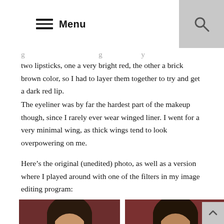Menu
two lipsticks, one a very bright red, the other a brick brown color, so I had to layer them together to try and get a dark red lip.
The eyeliner was by far the hardest part of the makeup though, since I rarely ever wear winged liner. I went for a very minimal wing, as thick wings tend to look overpowering on me.
Here’s the original (unedited) photo, as well as a version where I played around with one of the filters in my image editing program:
[Figure (photo): Two side-by-side photos of a woman with dark hair wearing white cat-eye glasses, against a dark red background. Left photo is unedited original, right photo has a filter applied.]